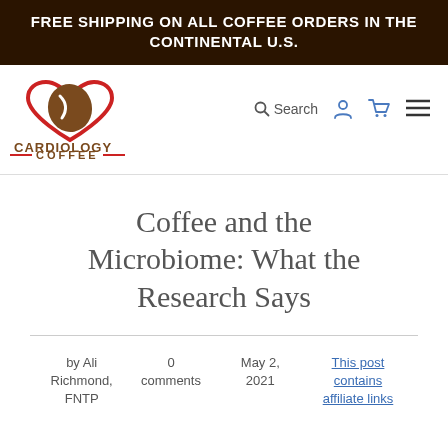FREE SHIPPING ON ALL COFFEE ORDERS IN THE CONTINENTAL U.S.
[Figure (logo): Cardiology Coffee logo: a red heart outline containing a brown coffee bean with a white swirl, and below it the text CARDIOLOGY COFFEE with decorative red dashes]
Coffee and the Microbiome: What the Research Says
by Ali Richmond, FNTP
0 comments
May 2, 2021
This post contains affiliate links